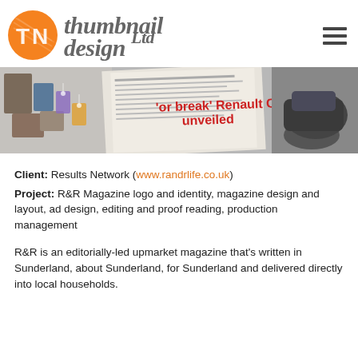[Figure (logo): Thumbnail Design Ltd logo: orange circle with TN letters and italic script wordmark 'thumbnail design Ltd' in grey]
[Figure (photo): Banner photo showing magazine pages spread out, including text 'or break' Renault Clio unveiled' in red, and various editorial layouts]
Client: Results Network (www.randrlife.co.uk)
Project: R&R Magazine logo and identity, magazine design and layout, ad design, editing and proof reading, production management
R&R is an editorially-led upmarket magazine that's written in Sunderland, about Sunderland, for Sunderland and delivered directly into local households.